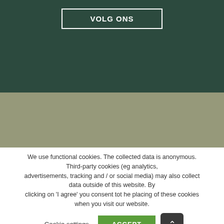VOLG ONS
[Figure (screenshot): Dark green background section of a website with a 'VOLG ONS' button outlined in white]
[Figure (screenshot): Sage/olive green background section of a website, partially showing large 'PINTEREST' text]
We use functional cookies. The collected data is anonymous. Third-party cookies (eg analytics, advertisements, tracking and / or social media) may also collect data outside of this website. By clicking on 'I agree' you consent tot he placing of these cookies when you visit our website.
Cookie settings
ACCEPT